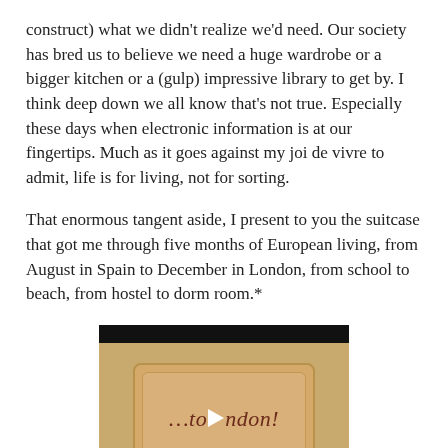construct) what we didn't realize we'd need. Our society has bred us to believe we need a huge wardrobe or a bigger kitchen or a (gulp) impressive library to get by. I think deep down we all know that's not true. Especially these days when electronic information is at our fingertips. Much as it goes against my joi de vivre to admit, life is for living, not for sorting.
That enormous tangent aside, I present to you the suitcase that got me through five months of European living, from August in Spain to December in London, from school to beach, from hostel to dorm room.*
[Figure (illustration): A video player thumbnail showing a luggage tag with the cursive text '...to London!' and a play button overlay. The player has black bars at top and bottom with a tan/beige luggage tag illustration in the center.]